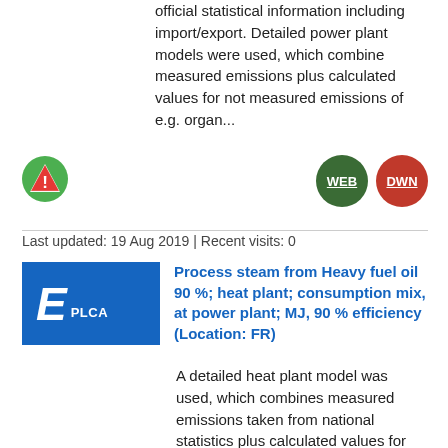official statistical information including import/export. Detailed power plant models were used, which combine measured emissions plus calculated values for not measured emissions of e.g. organ...
[Figure (other): Green alert icon with triangle warning symbol]
[Figure (other): WEB button (dark green circle)]
[Figure (other): DWN button (red circle)]
Last updated: 19 Aug 2019 | Recent visits: 0
[Figure (other): Blue badge with E PLCA label]
Process steam from Heavy fuel oil 90 %; heat plant; consumption mix, at power plant; MJ, 90 % efficiency (Location: FR)
A detailed heat plant model was used, which combines measured emissions taken from national statistics plus calculated values for